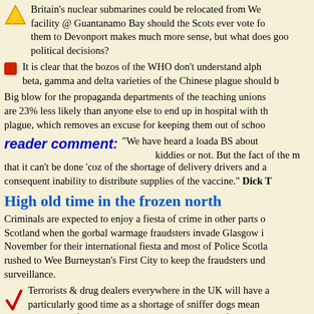Britain's nuclear submarines could be relocated from We... facility @ Guantanamo Bay should the Scots ever vote fo... them to Devonport makes much more sense, but what does goo... political decisions?
It is clear that the bozos of the WHO don't understand alpha... beta, gamma and delta varieties of the Chinese plague should be...
Big blow for the propaganda departments of the teaching unions... are 23% less likely than anyone else to end up in hospital with th... plague, which removes an excuse for keeping them out of schoo...
reader comment: "We have heard a loada BS about... kiddies or not. But the fact of the m... that it can't be done 'coz of the shortage of delivery drivers and a... consequent inability to distribute supplies of the vaccine." Dick T...
High old time in the frozen north
Criminals are expected to enjoy a fiesta of crime in other parts o... Scotland when the gorbal warmage fraudsters invade Glasgow i... November for their international fiesta and most of Police Scotla... rushed to Wee Burneystan's First City to keep the fraudsters und... surveillance.
Terrorists & drug dealers everywhere in the UK will have a... particularly good time as a shortage of sniffer dogs mean... every one of them in Britain will be in Glasgow from now ... the end of November.
Q: COP26—what's that all about?
A: It's a combined acronym and number code. Translating to... CORRE, which stands for Convention Of Public D...